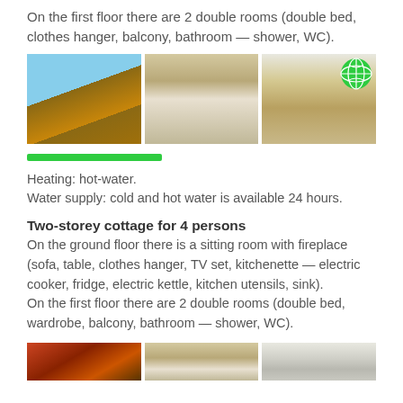On the first floor there are 2 double rooms (double bed, clothes hanger, balcony, bathroom — shower, WC).
[Figure (photo): Three photos: wooden cottage exterior in snow, interior dining/living area, bedroom interior with globe icon overlay]
[Figure (other): Green progress/rating bar]
Heating: hot-water.
Water supply: cold and hot water is available 24 hours.
Two-storey cottage for 4 persons
On the ground floor there is a sitting room with fireplace (sofa, table, clothes hanger, TV set, kitchenette — electric cooker, fridge, electric kettle, kitchen utensils, sink).
On the first floor there are 2 double rooms (double bed, wardrobe, balcony, bathroom — shower, WC).
[Figure (photo): Three partial photos at bottom of page showing cottage and interior]